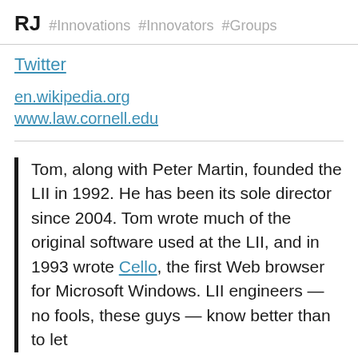RJ #Innovations #Innovators #Groups
Twitter
en.wikipedia.org
www.law.cornell.edu
Tom, along with Peter Martin, founded the LII in 1992. He has been its sole director since 2004. Tom wrote much of the original software used at the LII, and in 1993 wrote Cello, the first Web browser for Microsoft Windows. LII engineers — no fools, these guys — know better than to let